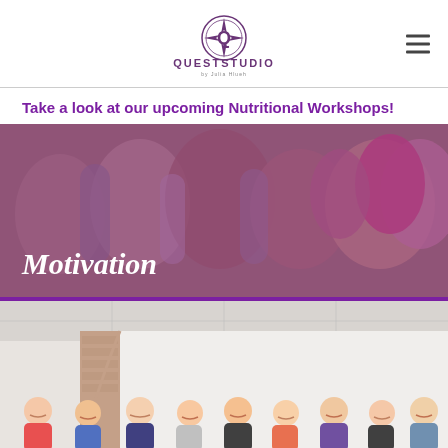QUESTSTUDIO by Julia Hlueh
Take a look at our upcoming Nutritional Workshops!
[Figure (photo): Group fitness class photo with purple overlay and 'Motivation' text overlay]
[Figure (photo): Group photo of women smiling in a studio/gym room]